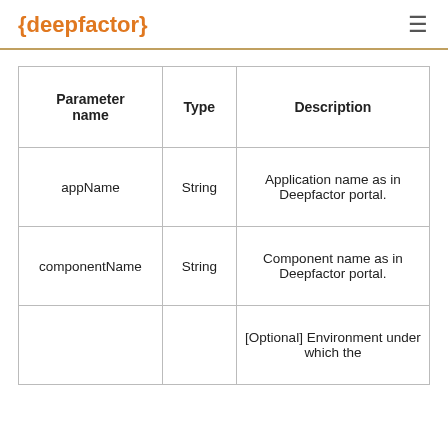{deepfactor}
| Parameter name | Type | Description |
| --- | --- | --- |
| appName | String | Application name as in Deepfactor portal. |
| componentName | String | Component name as in Deepfactor portal. |
|  |  | [Optional] Environment under which the |